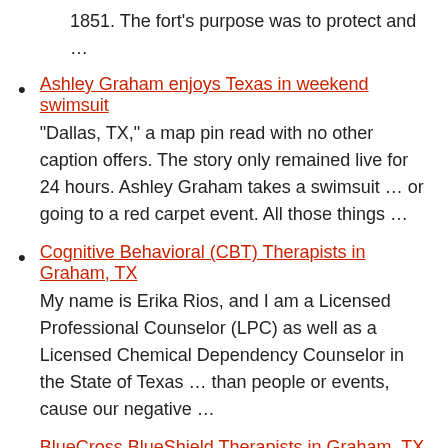1851. The fort's purpose was to protect and …
Ashley Graham enjoys Texas in weekend swimsuit
"Dallas, TX," a map pin read with no other caption offers. The story only remained live for 24 hours. Ashley Graham takes a swimsuit … or going to a red carpet event. All those things …
Cognitive Behavioral (CBT) Therapists in Graham, TX
My name is Erika Rios, and I am a Licensed Professional Counselor (LPC) as well as a Licensed Chemical Dependency Counselor in the State of Texas … than people or events, cause our negative …
BlueCross BlueShield Therapists in Graham, TX
My name is Erika Rios, and I am a Licensed Professional Counselor (LPC) as well as a Licensed Chemical Dependency Counselor in the State of Texas … faced a traumatic event in your life, my …